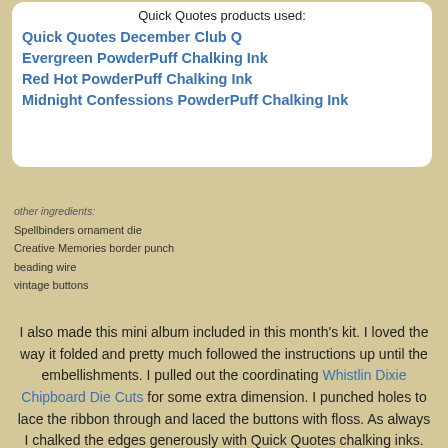Quick Quotes products used:
Quick Quotes December Club Q
Evergreen PowderPuff Chalking Ink
Red Hot PowderPuff Chalking Ink
Midnight Confessions PowderPuff Chalking Ink
other ingredients:
Spellbinders ornament die
Creative Memories border punch
beading wire
vintage buttons
I also made this mini album included in this month's kit.  I loved the way it folded and pretty much followed the instructions up until the embellishments.  I pulled out the coordinating Whistlin Dixie Chipboard Die Cuts for some extra dimension.  I punched holes to lace the ribbon through and laced the buttons with floss.  As always I chalked the edges generously with Quick Quotes chalking inks.